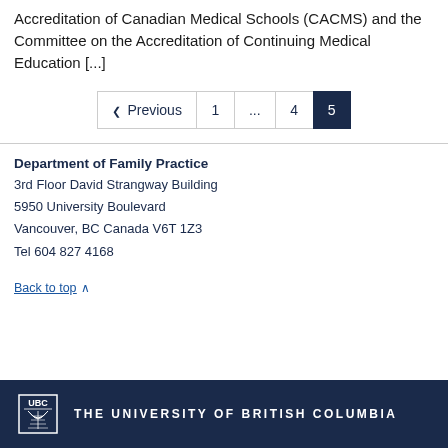Accreditation of Canadian Medical Schools (CACMS) and the Committee on the Accreditation of Continuing Medical Education [...]
Previous 1 ... 4 5
Department of Family Practice
3rd Floor David Strangway Building
5950 University Boulevard
Vancouver, BC Canada V6T 1Z3
Tel 604 827 4168
Back to top ∧
THE UNIVERSITY OF BRITISH COLUMBIA